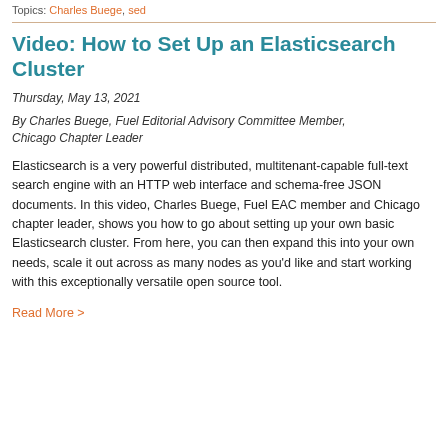Topics: Charles Buege, sed
Video: How to Set Up an Elasticsearch Cluster
Thursday, May 13, 2021
By Charles Buege, Fuel Editorial Advisory Committee Member, Chicago Chapter Leader
Elasticsearch is a very powerful distributed, multitenant-capable full-text search engine with an HTTP web interface and schema-free JSON documents. In this video, Charles Buege, Fuel EAC member and Chicago chapter leader, shows you how to go about setting up your own basic Elasticsearch cluster. From here, you can then expand this into your own needs, scale it out across as many nodes as you'd like and start working with this exceptionally versatile open source tool.
Read More >